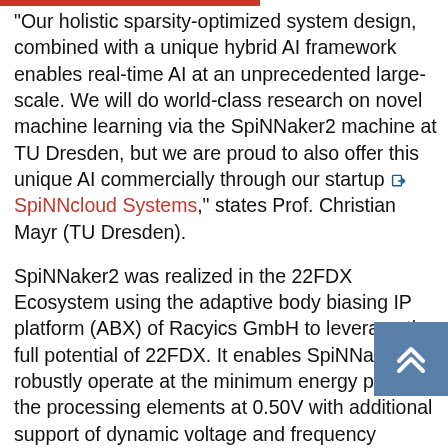"Our holistic sparsity-optimized system design, combined with a unique hybrid AI framework enables real-time AI at an unprecedented large-scale. We will do world-class research on novel machine learning via the SpiNNaker2 machine at TU Dresden, but we are proud to also offer this unique AI commercially through our startup ➜ SpiNNcloud Systems," states Prof. Christian Mayr (TU Dresden).
SpiNNaker2 was realized in the 22FDX Ecosystem using the adaptive body biasing IP platform (ABX) of Racyics GmbH to leverage the full potential of 22FDX. It enables SpiNNaker2 to robustly operate at the minimum energy point of the processing elements at 0.50V with additional support of dynamic voltage and frequency scaling for instantaneous high performance on demand. Thus, SpiNNaker2 leverages the advanced power saving features of 22FDX, the flagship technology offered by GF Dresden. The complete chip design was done using ➜ makeChip a turnkey hosted design